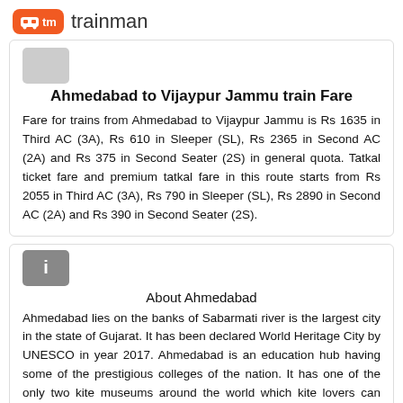tm trainman
Ahmedabad to Vijaypur Jammu train Fare
Fare for trains from Ahmedabad to Vijaypur Jammu is Rs 1635 in Third AC (3A), Rs 610 in Sleeper (SL), Rs 2365 in Second AC (2A) and Rs 375 in Second Seater (2S) in general quota. Tatkal ticket fare and premium tatkal fare in this route starts from Rs 2055 in Third AC (3A), Rs 790 in Sleeper (SL), Rs 2890 in Second AC (2A) and Rs 390 in Second Seater (2S).
About Ahmedabad
Ahmedabad lies on the banks of Sabarmati river is the largest city in the state of Gujarat. It has been declared World Heritage City by UNESCO in year 2017. Ahmedabad is an education hub having some of the prestigious colleges of the nation. It has one of the only two kite museums around the world which kite lovers can explore and cherish. It is home to the Father of the nation-Mahatama Gandhi